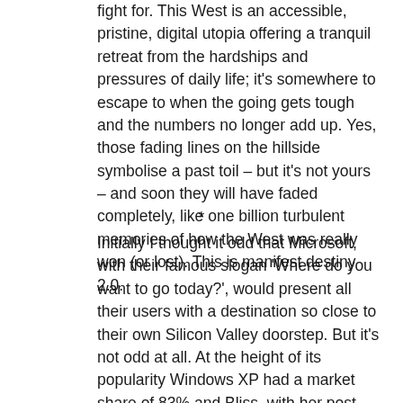fight for. This West is an accessible, pristine, digital utopia offering a tranquil retreat from the hardships and pressures of daily life; it's somewhere to escape to when the going gets tough and the numbers no longer add up. Yes, those fading lines on the hillside symbolise a past toil – but it's not yours – and soon they will have faded completely, like one billion turbulent memories of how the West was really won (or lost). This is manifest destiny 2.0.
*
Initially I thought it odd that Microsoft, with their famous slogan 'Where do you want to go today?', would present all their users with a destination so close to their own Silicon Valley doorstep. But it's not odd at all. At the height of its popularity Windows XP had a market share of 83% and Bliss, with her post 9/11 'trust me, everything is going to be OK' message, had infiltrated offices, homes and schools across the globe. Manifest destiny 2.0 has reached…